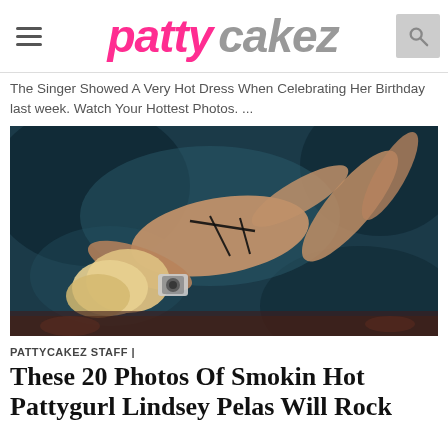patty cakez
The Singer Showed A Very Hot Dress When Celebrating Her Birthday last week. Watch Your Hottest Photos.  ...
[Figure (photo): A blonde woman in black lingerie reclining on a dark teal velvet surface, holding a camera]
PATTYCAKEZ STAFF |
These 20 Photos Of Smokin Hot Pattygurl Lindsey Pelas Will Rock